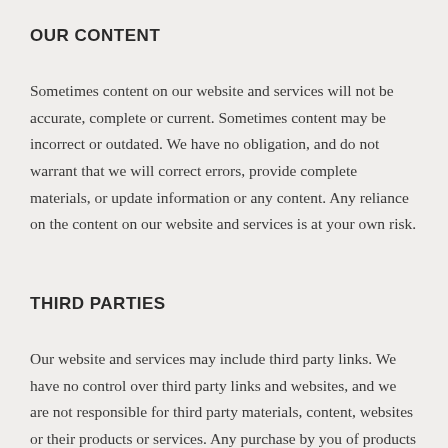OUR CONTENT
Sometimes content on our website and services will not be accurate, complete or current. Sometimes content may be incorrect or outdated. We have no obligation, and do not warrant that we will correct errors, provide complete materials, or update information or any content. Any reliance on the content on our website and services is at your own risk.
THIRD PARTIES
Our website and services may include third party links. We have no control over third party links and websites, and we are not responsible for third party materials, content, websites or their products or services. Any purchase by you of products or services or any transaction with a third party is a contract between you